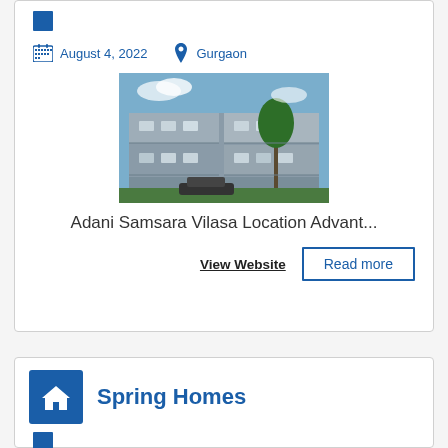August 4, 2022   Gurgaon
[Figure (photo): Exterior photo of a multi-story residential apartment building with balconies and greenery]
Adani Samsara Vilasa Location Advant...
View Website
Read more
Spring Homes
August 4, 2022   Noida